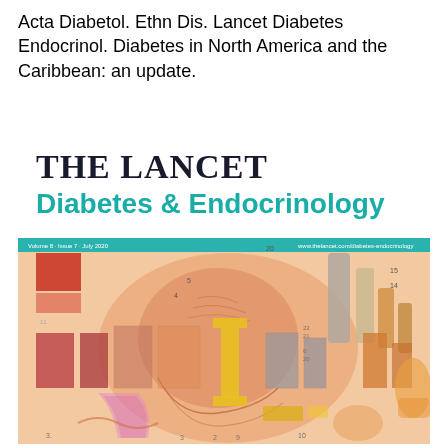Acta Diabetol. Ethn Dis. Lancet Diabetes Endocrinol. Diabetes in North America and the Caribbean: an update.
THE LANCET Diabetes & Endocrinology
[Figure (illustration): Cover of The Lancet Diabetes & Endocrinology, Volume 8, Issue 7, July 2020. Features an artistic illustration combining anatomical drawings of abdominal organs with overlaid colorful bar chart elements in red, orange, pink, yellow and grey tones on a peach/salmon background. A teal header band shows the journal URL and issue details.]